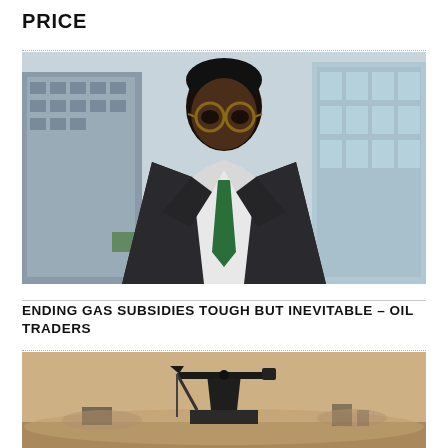PRICE
[Figure (photo): Professional portrait of a Black man in a dark suit with a green tie, wearing round tortoiseshell glasses, standing in front of a glass office building]
ENDING GAS SUBSIDIES TOUGH BUT INEVITABLE – OIL TRADERS
[Figure (photo): Misty/dusty landscape with a oil pump jack silhouetted against a hazy sky]